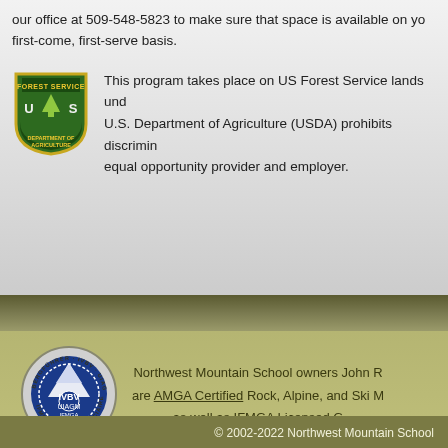our office at 509-548-5823 to make sure that space is available on yo... first-come, first-serve basis.
This program takes place on US Forest Service lands und... U.S. Department of Agriculture (USDA) prohibits discrimin... equal opportunity provider and employer.
[Figure (logo): US Forest Service shield badge logo — green shield with 'FOREST SERVICE' at top, 'US' letters with tree, 'DEPARTMENT OF AGRICULTURE' at bottom]
[Figure (logo): IFMGA/IVBV/UIAGM circular certification seal — circular badge with mountain and rope imagery, 'BERGFÜHRER IVBV UIAGM IFMGA' text around border]
Northwest Mountain School owners John R... are AMGA Certified Rock, Alpine, and Ski M... as well as IFMGA Licensed G...
Northwest Mountain School
P.O. Box 329 • Leavenworth, W...
© 2002-2022 Northwest Mountain School